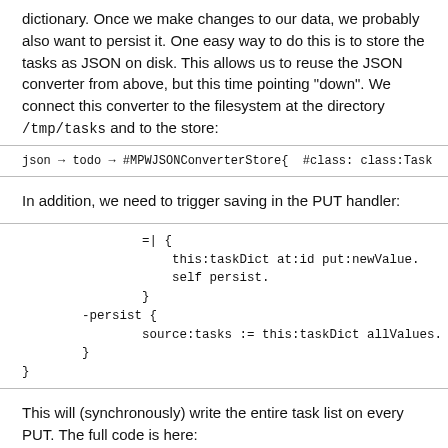dictionary. Once we make changes to our data, we probably also want to persist it. One easy way to do this is to store the tasks as JSON on disk. This allows us to reuse the JSON converter from above, but this time pointing "down". We connect this converter to the filesystem at the directory /tmp/tasks and to the store:
json → todo → #MPWJSONConverterStore{  #class: class:Task
In addition, we need to trigger saving in the PUT handler:
=| {
            this:taskDict at:id put:newValue.
            self persist.
        }
    -persist {
        source:tasks := this:taskDict allValues.
    }
}
This will (synchronously) write the entire task list on every PUT. The full code is here:
#lazy_stor